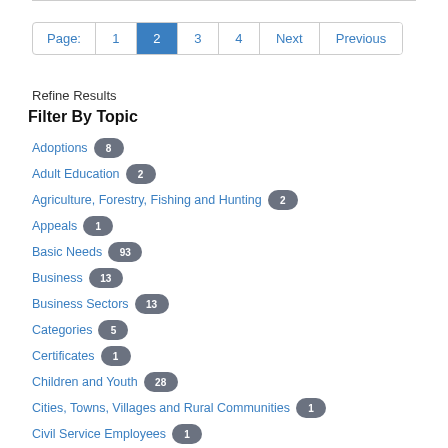Page: 1 2 3 4 Next Previous
Refine Results
Filter By Topic
Adoptions 8
Adult Education 2
Agriculture, Forestry, Fishing and Hunting 2
Appeals 1
Basic Needs 93
Business 13
Business Sectors 13
Categories 5
Certificates 1
Children and Youth 28
Cities, Towns, Villages and Rural Communities 1
Civil Service Employees 1